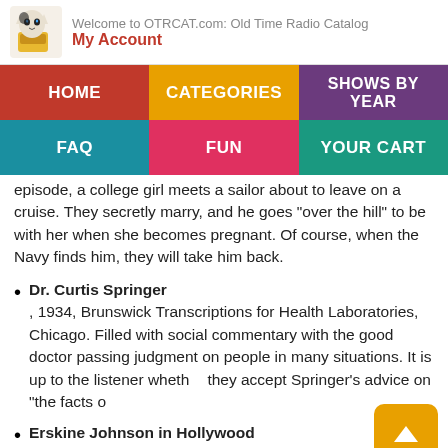Welcome to OTRCAT.com: Old Time Radio Catalog
My Account
[Figure (screenshot): Navigation menu with HOME (red), CATEGORIES (orange), SHOWS BY YEAR (purple), FAQ (teal), FUN (pink/red), YOUR CART (green)]
episode, a college girl meets a sailor about to leave on a cruise. They secretly marry, and he goes "over the hill" to be with her when she becomes pregnant. Of course, when the Navy finds him, they will take him back.
Dr. Curtis Springer, 1934, Brunswick Transcriptions for Health Laboratories, Chicago. Filled with social commentary with the good doctor passing judgment on people in many situations. It is up to the listener wheth... they accept Springer's advice on "the facts o...
Erskine Johnson in Hollywood